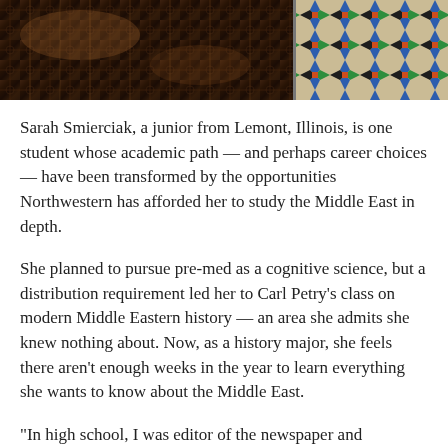[Figure (photo): Two photographs side by side: on the left, an ornate carved wooden door or architectural detail with dark brown tones; on the right, a decorative Islamic geometric tile pattern with blue, green, black, and warm earth tones.]
Sarah Smierciak, a junior from Lemont, Illinois, is one student whose academic path — and perhaps career choices — have been transformed by the opportunities Northwestern has afforded her to study the Middle East in depth.
She planned to pursue pre-med as a cognitive science, but a distribution requirement led her to Carl Petry's class on modern Middle Eastern history — an area she admits she knew nothing about. Now, as a history major, she feels there aren't enough weeks in the year to learn everything she wants to know about the Middle East.
"In high school, I was editor of the newspaper and